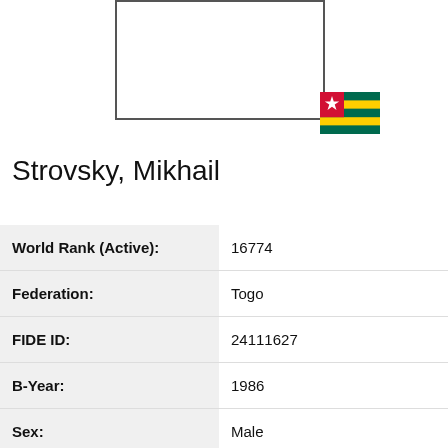[Figure (photo): Empty photo placeholder box with Togo flag in the bottom right corner]
Strovsky, Mikhail
| Field | Value |
| --- | --- |
| World Rank (Active): | 16774 |
| Federation: | Togo |
| FIDE ID: | 24111627 |
| B-Year: | 1986 |
| Sex: | Male |
| FIDE title: | None |